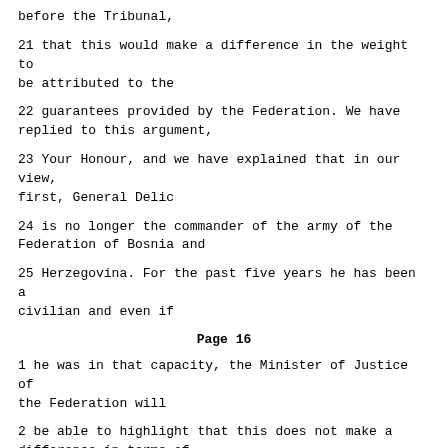before the Tribunal,
21 that this would make a difference in the weight to be attributed to the
22 guarantees provided by the Federation. We have replied to this argument,
23 Your Honour, and we have explained that in our view, first, General Delic
24 is no longer the commander of the army of the Federation of Bosnia and
25 Herzegovina. For the past five years he has been a civilian and even if
Page 16
1 he was in that capacity, the Minister of Justice of the Federation will
2 be able to highlight that this does not make a difference in terms of
3 their ability to react in case there would be any attempt not to abide by
4 an order of this Chamber.
5 I move on quickly, Mr. President, to the personal situation of